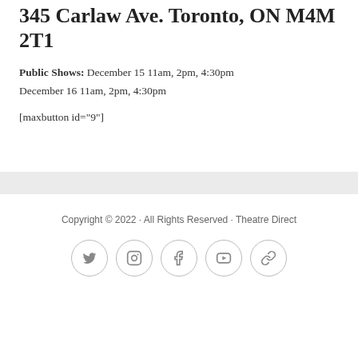345 Carlaw Ave. Toronto, ON M4M 2T1
Public Shows: December 15 11am, 2pm, 4:30pm
December 16 11am, 2pm, 4:30pm
[maxbutton id="9"]
Copyright © 2022 · All Rights Reserved · Theatre Direct